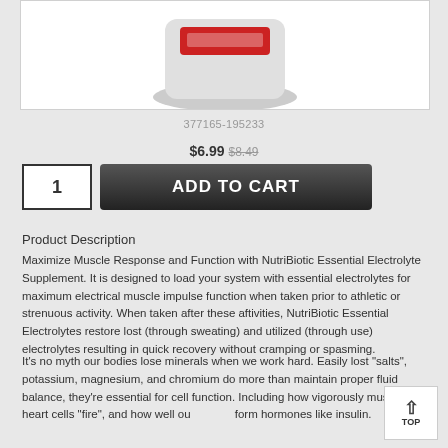[Figure (photo): Product container (NutriBotic Essential Electrolyte Supplement) shown from top/front angle, white container visible at top of page]
377165-195233
$6.99 $8.49
1
ADD TO CART
Product Description
Maximize Muscle Response and Function with NutriBiotic Essential Electrolyte Supplement. It is designed to load your system with essential electrolytes for maximum electrical muscle impulse function when taken prior to athletic or strenuous activity. When taken after these aftivities, NutriBiotic Essential Electrolytes restore lost (through sweating) and utilized (through use) electrolytes resulting in quick recovery without cramping or spasming.
It's no myth our bodies lose minerals when we work hard. Easily lost "salts", potassium, magnesium, and chromium do more than maintain proper fluid balance, they're essential for cell function. Including how vigorously muscle and heart cells "fire", and how well our bodies form hormones like insulin.